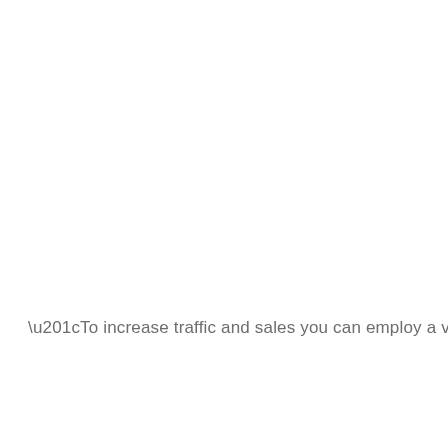“To increase traffic and sales you can employ a variety